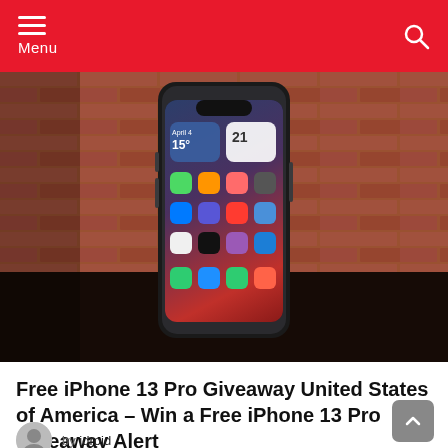Menu
[Figure (photo): iPhone 13 Pro standing upright in front of a red brick wall, placed on a dark wooden surface with scattered leaves and berries. The phone screen displays the iOS home screen with various app icons.]
Free iPhone 13 Pro Giveaway United States of America – Win a Free iPhone 13 Pro Giveaway Alert
by idroid